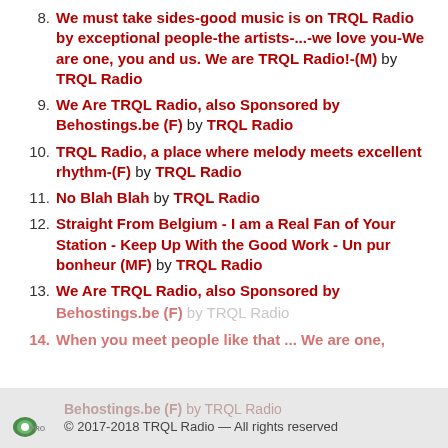8. We must take sides-good music is on TRQL Radio by exceptional people-the artists-...-we love you-We are one, you and us. We are TRQL Radio!-(M) by TRQL Radio
9. We Are TRQL Radio, also Sponsored by Behostings.be (F) by TRQL Radio
10. TRQL Radio, a place where melody meets excellent rhythm-(F) by TRQL Radio
11. No Blah Blah by TRQL Radio
12. Straight From Belgium - I am a Real Fan of Your Station - Keep Up With the Good Work - Un pur bonheur (MF) by TRQL Radio
13. We Are TRQL Radio, also Sponsored by Behostings.be (F) by TRQL Radio
14. When you meet people like that ... We are one,
© 2017-2018 TRQL Radio — All rights reserved